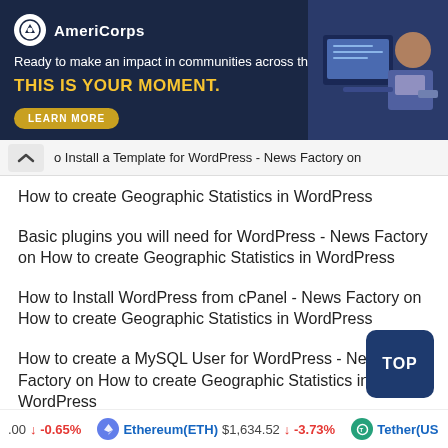[Figure (other): AmeriCorps advertisement banner with dark navy background. Logo with white circle, text 'AmeriCorps'. Tagline: 'Ready to make an impact in communities across the country? THIS IS YOUR MOMENT.' Yellow 'LEARN MORE' button. Photo of people working at computer on right side.]
↑o Install a Template for WordPress - News Factory on How to create Geographic Statistics in WordPress
How to create Geographic Statistics in WordPress
Basic plugins you will need for WordPress - News Factory on How to create Geographic Statistics in WordPress
How to Install WordPress from cPanel - News Factory on How to create Geographic Statistics in WordPress
How to create a MySQL User for WordPress - News Factory on How to create Geographic Statistics in WordPress
[Figure (other): Dark blue TOP button in bottom right corner]
.00 ↓ -0.65% Ethereum(ETH) $1,634.52 ↓ -3.73% Tether(US